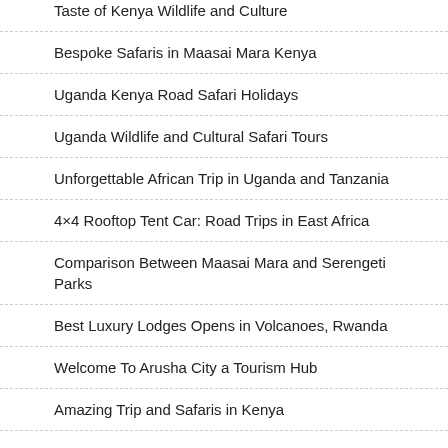Taste of Kenya Wildlife and Culture
Bespoke Safaris in Maasai Mara Kenya
Uganda Kenya Road Safari Holidays
Uganda Wildlife and Cultural Safari Tours
Unforgettable African Trip in Uganda and Tanzania
4×4 Rooftop Tent Car: Road Trips in East Africa
Comparison Between Maasai Mara and Serengeti Parks
Best Luxury Lodges Opens in Volcanoes, Rwanda
Welcome To Arusha City a Tourism Hub
Amazing Trip and Safaris in Kenya